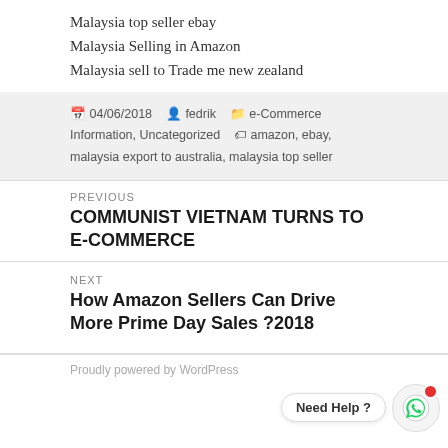Malaysia top seller ebay
Malaysia Selling in Amazon
Malaysia sell to Trade me new zealand
04/06/2018   fedrik   e-Commerce Information, Uncategorized   amazon, ebay, malaysia export to australia, malaysia top seller
PREVIOUS
COMMUNIST VIETNAM TURNS TO E-COMMERCE
NEXT
How Amazon Sellers Can Drive More Prime Day Sales ?2018
Proudly powered by WordPress